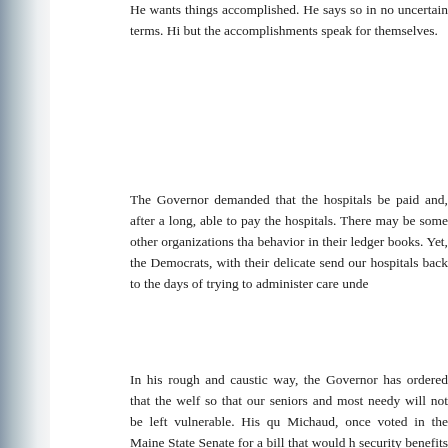He wants things accomplished. He says so in no uncertain terms. Hi but the accomplishments speak for themselves.
The Governor demanded that the hospitals be paid and, after a long, able to pay the hospitals. There may be some other organizations tha behavior in their ledger books. Yet, the Democrats, with their delicate send our hospitals back to the days of trying to administer care unde
In his rough and caustic way, the Governor has ordered that the welf so that our seniors and most needy will not be left vulnerable. His qu Michaud, once voted in the Maine State Senate for a bill that would h security benefits to fund tax breaks for State employees. The bill was Governor Angus King vetoed it. When asked why he voted for such a walked back into the shadows and ineffectively mumbled that he bas
In 2003, Michaud voted against Medicare Part D, voting, again, agai that benefit to afford costly medications. In 2009, he voted for Obama billion of Medicare funding in order to fund able bodied adults. Wha